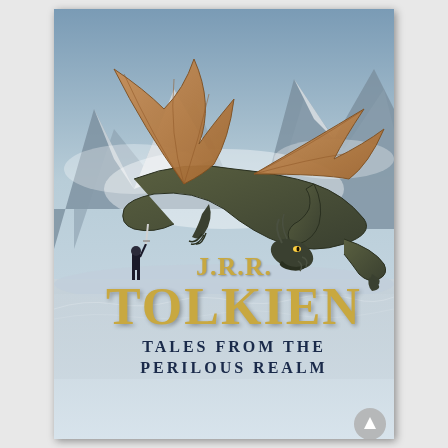[Figure (illustration): Book cover of 'Tales from the Perilous Realm' by J.R.R. Tolkien. Artwork depicts a large dragon with spread wings flying over a misty mountain landscape. A small human figure stands below holding a sword up toward the dragon. The background shows snowy/icy mountains and blue-grey skies.]
J.R.R. TOLKIEN Tales from the Perilous Realm